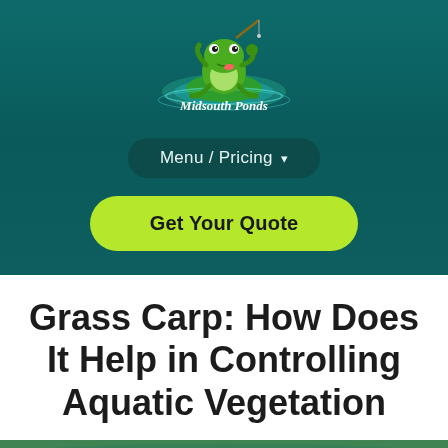[Figure (logo): Midsouth Ponds logo: cartoon frog with a fishing rod sitting on a lily pad in water, with text 'Midsouth Ponds' in white cursive below]
Menu / Pricing ▾
Get Your Quote
Grass Carp: How Does It Help in Controlling Aquatic Vegetation
[Figure (photo): Bottom portion showing a pond scene with green aquatic vegetation]